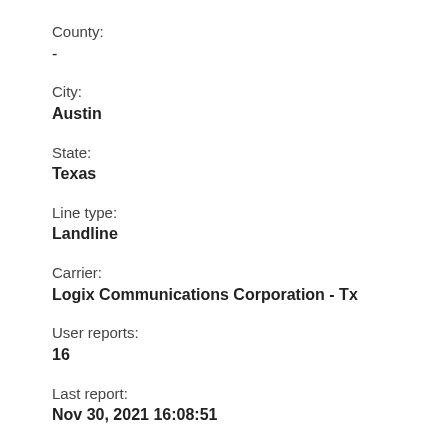County:
-
City:
Austin
State:
Texas
Line type:
Landline
Carrier:
Logix Communications Corporation - Tx
User reports:
16
Last report:
Nov 30, 2021 16:08:51